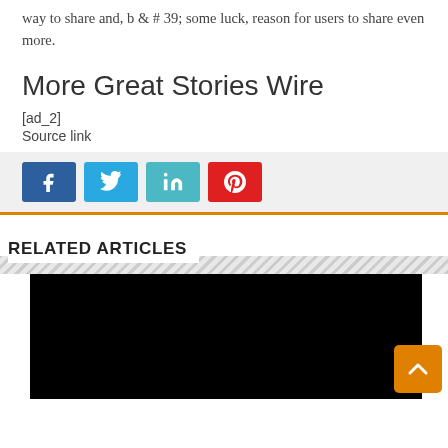way to share and, b & # 39; some luck, reason for users to share even more.
More Great Stories Wire
[ad_2]
Source link
[Figure (other): Social share buttons: Facebook (dark blue), Twitter (light blue), LinkedIn (teal), Pinterest (red)]
RELATED ARTICLES
[Figure (photo): Black image placeholder for related article thumbnail]